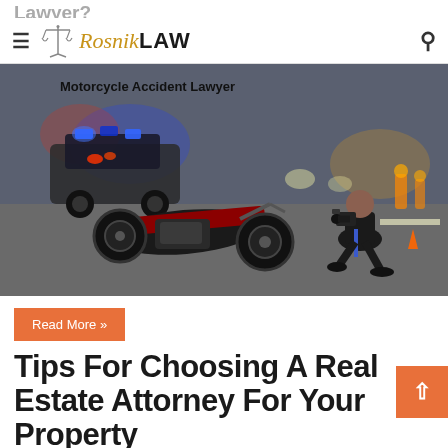Rosnik LAW
Lawyer?
[Figure (photo): A police officer crouching and photographing a crashed motorcycle lying on a road, with police cars with blue flashing lights in the background. Label 'Motorcycle Accident Lawyer' visible at top left of photo.]
Read More »
Tips For Choosing A Real Estate Attorney For Your Property